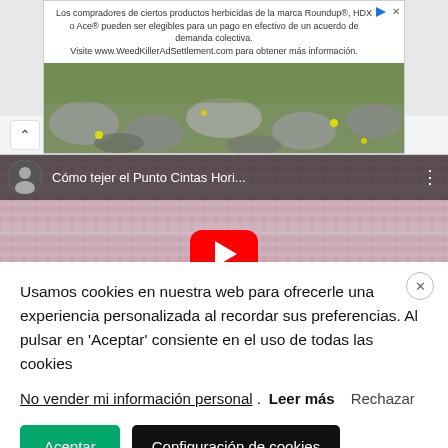[Figure (screenshot): Advertisement banner for WeedKillerAdSettlement.com with text about Roundup herbicide class action settlement and garden/stone path image]
[Figure (screenshot): YouTube video thumbnail for 'Cómo tejer el Punto Cintas Hori...' showing a knitted pink fabric with YouTube play button overlay]
Usamos cookies en nuestra web para ofrecerle una experiencia personalizada al recordar sus preferencias. Al pulsar en 'Aceptar' consiente en el uso de todas las cookies
No vender mi información personal. Leer más Rechazar
Aceptar   Configuración de cookies